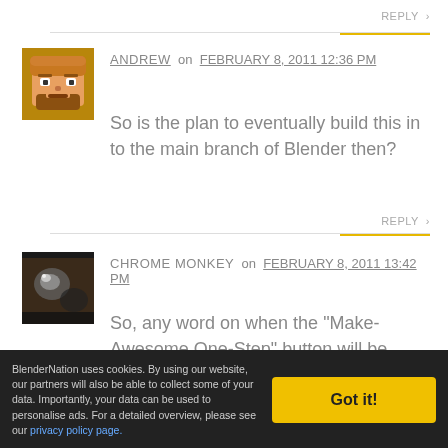REPLY >
[Figure (photo): Avatar of Andrew - pixel art face with beard]
ANDREW on FEBRUARY 8, 2011 12:36 PM
So is the plan to eventually build this in to the main branch of Blender then?
REPLY >
[Figure (photo): Avatar of Chrome Monkey - close-up photo of chrome/metal object]
CHROME MONKEY on FEBRUARY 8, 2011 13:42 PM
So, any word on when the "Make-Awesome One-Step" button will be ready? :)
REPLY >
BlenderNation uses cookies. By using our website, our partners will also be able to collect some of your data. Importantly, your data can be used to personalise ads. For a detailed overview, please see our privacy policy page.